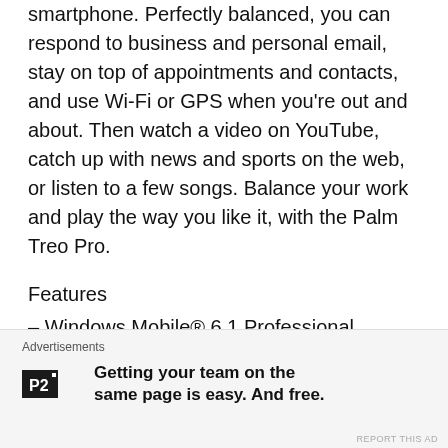smartphone. Perfectly balanced, you can respond to business and personal email, stay on top of appointments and contacts, and use Wi-Fi or GPS when you're out and about. Then watch a video on YouTube, catch up with news and sports on the web, or listen to a few songs. Balance your work and play the way you like it, with the Palm Treo Pro.
Features
– Windows Mobile® 6.1 Professional Edition
– Qualcomm® MSM7201 400MHz Processor
– 320×320 transflective colour TFT touchscreen
– HSDPA/UMTS/EDGE/GPRS/GSM radio...
Advertisements
Getting your team on the same page is easy. And free.